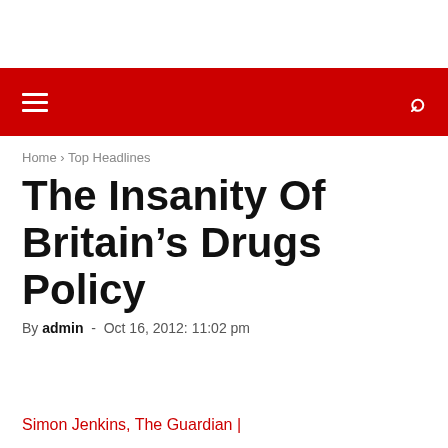≡  🔍
Home › Top Headlines
The Insanity Of Britain's Drugs Policy
By admin - Oct 16, 2012: 11:02 pm
Simon Jenkins, The Guardian |